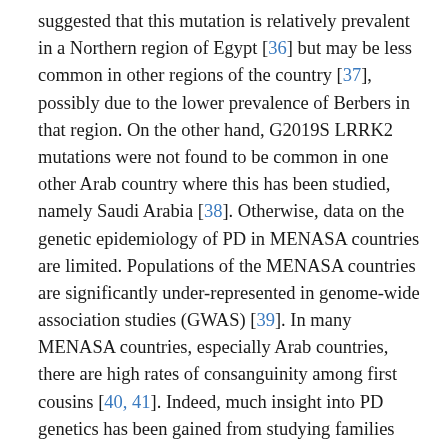suggested that this mutation is relatively prevalent in a Northern region of Egypt [36] but may be less common in other regions of the country [37], possibly due to the lower prevalence of Berbers in that region. On the other hand, G2019S LRRK2 mutations were not found to be common in one other Arab country where this has been studied, namely Saudi Arabia [38]. Otherwise, data on the genetic epidemiology of PD in MENASA countries are limited. Populations of the MENASA countries are significantly under-represented in genome-wide association studies (GWAS) [39]. In many MENASA countries, especially Arab countries, there are high rates of consanguinity among first cousins [40, 41]. Indeed, much insight into PD genetics has been gained from studying families originating in MENASA countries including Jordan [42–44], Sudan [45], and Palestine [46]. Thus, the high rates of consanguinity in some MENASA countries, combined with the heterogeneous genetic